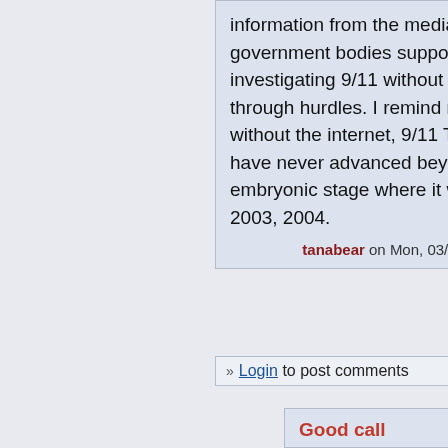information from the media and the government bodies supposedly investigating 9/11 without jumping through hurdles. I remind myself that without the internet, 9/11 Truth would have never advanced beyond its fragile embryonic stage where it was circa 2003, 2004.
tanabear on Mon, 03/07/2011 - 8:41pm.
» Login to post comments   2 votes
Good call
The link has changed.. one digit:
http://www.foxnews.com/opinion/201 scott-shapiro-jesse-venture-book-lies-